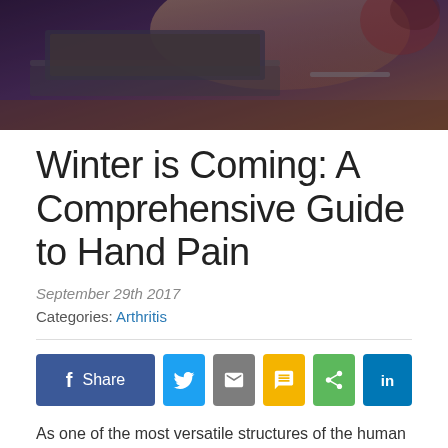[Figure (photo): Hero image of a laptop on a desk with warm lighting, purple/brown toned]
Winter is Coming: A Comprehensive Guide to Hand Pain
September 29th 2017
Categories: Arthritis
[Figure (infographic): Social share buttons: Facebook Share, Twitter, Email, SMS, Share, LinkedIn]
As one of the most versatile structures of the human body, hands help us to accomplish almost everything. From performing essential functions like eating and